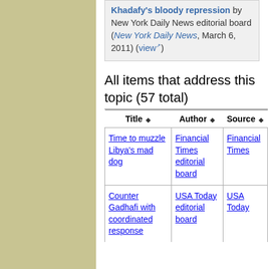Khadafy's bloody repression by New York Daily News editorial board (New York Daily News, March 6, 2011) (view)
All items that address this topic (57 total)
| Title | Author | Source |
| --- | --- | --- |
| Time to muzzle Libya's mad dog | Financial Times editorial board | Financial Times |
| Counter Gadhafi with coordinated response | USA Today editorial board | USA Today |